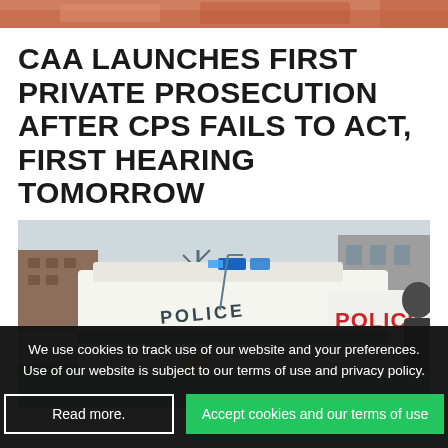[Figure (photo): Top portion of an image cropped at the top of the page, showing colorful content (partially visible).]
CAA LAUNCHES FIRST PRIVATE PROSECUTION AFTER CPS FAILS TO ACT, FIRST HEARING TOMORROW
[Figure (photo): Photograph of a white police van with 'POLICE' written in large red letters on the side and 'POLICE' on the front, with blue lights on top, taken on a street.]
We use cookies to track use of our website and your preferences. Use of our website is subject to our terms of use and privacy policy.
Read more.
Accept cookies and our terms of use